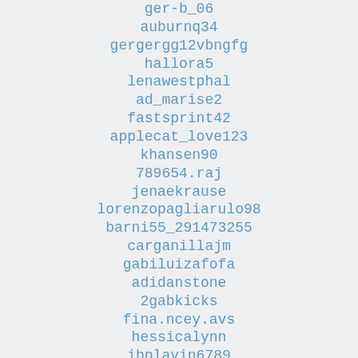ger-b_06
auburnq34
gergergg12vbngfg
hallora5
lenawestphal
ad_marise2
fastsprint42
applecat_love123
khansen90
789654.raj
jenaekrause
lorenzopagliarulo98
barni55_291473255
carganillajm
gabiluizafofa
adidanstone
2gabkicks
fina.ncey.avs
hessicalynn
ibplayin6789
6giwredseal
didierkheuse
cheng-3030
maeoneshelle